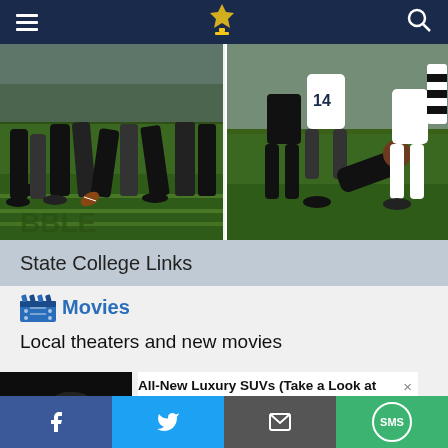State College news website header with hamburger menu, logo, and search icon
[Figure (photo): Football game photo left side — players' legs on green field with yard line markings]
[Figure (photo): Football game photo right side — players tackling on green field, number 14 visible]
State College Links
[Figure (other): Movie clapper board icon in blue]
Movies
Local theaters and new movies
[Figure (photo): Advertisement image of a dark luxury sports car/SUV]
All-New Luxury SUVs (Take a Look at the Prices)
Crossover SUV | Search Ads | Sponsored
Share bar: Facebook, Twitter, Email, SMS